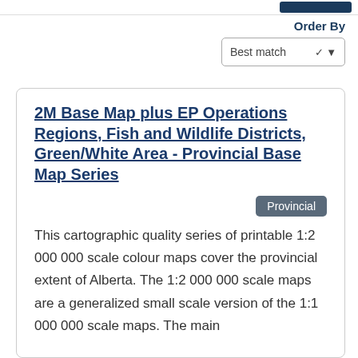Order By
Best match
2M Base Map plus EP Operations Regions, Fish and Wildlife Districts, Green/White Area - Provincial Base Map Series
Provincial
This cartographic quality series of printable 1:2 000 000 scale colour maps cover the provincial extent of Alberta. The 1:2 000 000 scale maps are a generalized small scale version of the 1:1 000 000 scale maps. The main